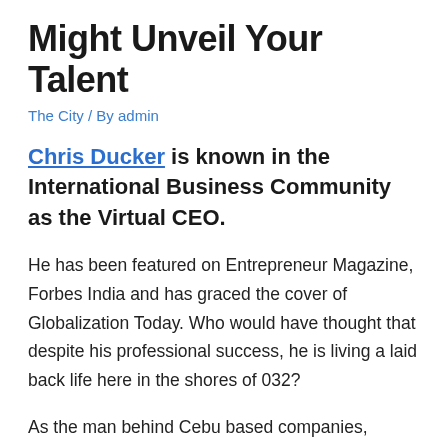Might Unveil Your Talent
The City / By admin
Chris Ducker is known in the International Business Community as the Virtual CEO.
He has been featured on Entrepreneur Magazine, Forbes India and has graced the cover of Globalization Today. Who would have thought that despite his professional success, he is living a laid back life here in the shores of 032?
As the man behind Cebu based companies, Live2Sell and Virtual Staff Finder, Chris has established himself as the go-to guy when it comes to new business styles